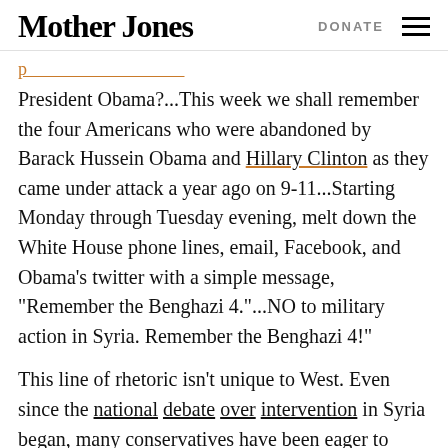Mother Jones   DONATE
President Obama?...This week we shall remember the four Americans who were abandoned by Barack Hussein Obama and Hillary Clinton as they came under attack a year ago on 9-11...Starting Monday through Tuesday evening, melt down the White House phone lines, email, Facebook, and Obama’s twitter with a simple message, “Remember the Benghazi 4.”...NO to military action in Syria. Remember the Benghazi 4!”
This line of rhetoric isn’t unique to West. Even since the national debate over intervention in Syria began, many conservatives have been eager to bring up Benghazi, non sequiturs be damned. Here’s a